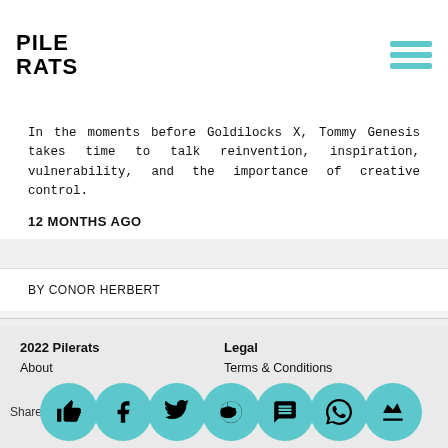PILE RATS
In the moments before Goldilocks X, Tommy Genesis takes time to talk reinvention, inspiration, vulnerability, and the importance of creative control.
12 MONTHS AGO
BY CONOR HERBERT
2022 Pilerats | Legal | About | Terms & Conditions | Contact | Privacy Policy | Team | Follow | Submissions | Facebook | Written | Instagram | Art | Share